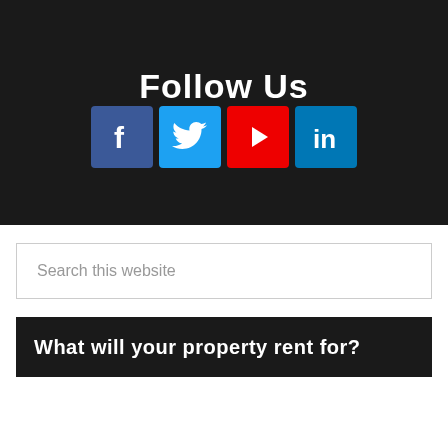Follow Us
[Figure (infographic): Social media icons: Facebook (blue, f), Twitter (blue, bird), YouTube (red, play button), LinkedIn (blue, in)]
Search this website
What will your property rent for?